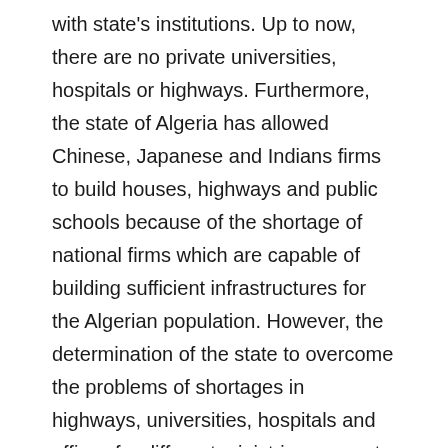with state's institutions. Up to now, there are no private universities, hospitals or highways. Furthermore, the state of Algeria has allowed Chinese, Japanese and Indians firms to build houses, highways and public schools because of the shortage of national firms which are capable of building sufficient infrastructures for the Algerian population. However, the determination of the state to overcome the problems of shortages in highways, universities, hospitals and offices for different ministries was not matched by similar efforts to buy modern equipment, computer and on the part of bureaucrats introduce modern methods of works. What is needed in the Algerian administrative procedures is the creation of efficiency in the administrative system.